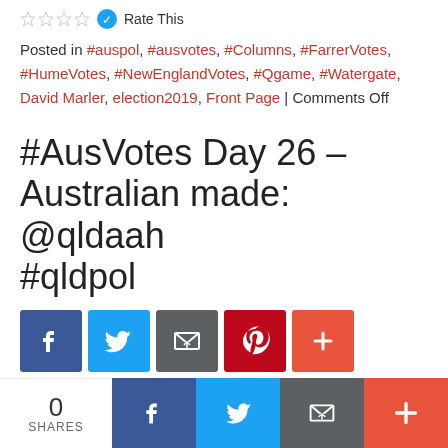Rate This
Posted in #auspol, #ausvotes, #Columns, #FarrerVotes, #HumeVotes, #NewEnglandVotes, #Qgame, #Watergate, David Marler, election2019, Front Page | Comments Off
#AusVotes Day 26 – Australian made: @qldaah #qldpol
[Figure (infographic): Social share buttons: Facebook (blue), Twitter (light blue), Email (dark grey), Pinterest (red), More/Plus (orange-red)]
May 6, 2019 – Table of contents The debate about the debate rages Clive could spoil the election party Australian made . The debate about the debate rages Both leaders appear to have agreed to a third debate on Wednesday night at the National
[Figure (infographic): Bottom share bar: 0 SHARES count on left, then Facebook, Twitter, Email, More buttons]